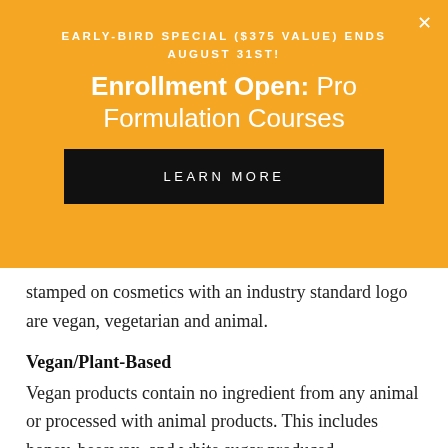EARLY-BIRD SPECIAL ($375 VALUE) ENDS AUGUST 31ST!
Enrollment Open: Pro Formulation Courses
LEARN MORE
stamped on cosmetics with an industry standard logo are vegan, vegetarian and animal.
Vegan/Plant-Based
Vegan products contain no ingredient from any animal or processed with animal products. This includes honey, beeswax, and white sugar produced